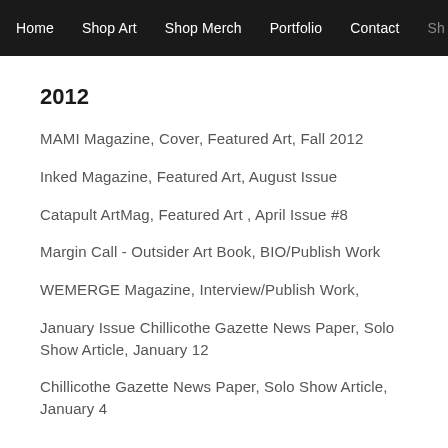Home  Shop Art  Shop Merch  Portfolio  Contact  Sh
2012
MAMI Magazine, Cover, Featured Art, Fall 2012
Inked Magazine, Featured Art, August Issue
Catapult ArtMag, Featured Art , April Issue #8
Margin Call - Outsider Art Book, BIO/Publish Work
WEMERGE Magazine, Interview/Publish Work,
January Issue Chillicothe Gazette News Paper, Solo Show Article, January 12
Chillicothe Gazette News Paper, Solo Show Article, January 4